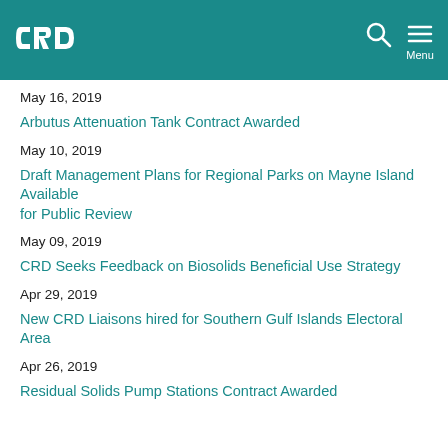CRD [logo] | Search | Menu
May 16, 2019
Arbutus Attenuation Tank Contract Awarded
May 10, 2019
Draft Management Plans for Regional Parks on Mayne Island Available for Public Review
May 09, 2019
CRD Seeks Feedback on Biosolids Beneficial Use Strategy
Apr 29, 2019
New CRD Liaisons hired for Southern Gulf Islands Electoral Area
Apr 26, 2019
Residual Solids Pump Stations Contract Awarded